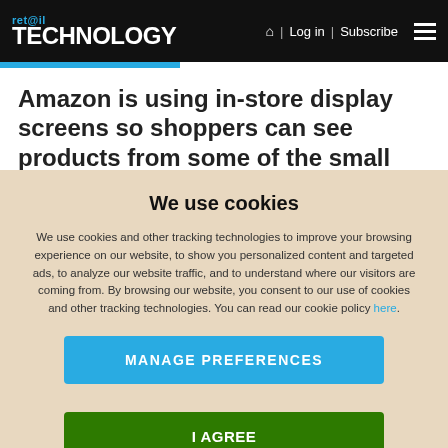ret@il TECHNOLOGY | Log in | Subscribe
Amazon is using in-store display screens so shoppers can see products from some of the small businesses that use its
We use cookies
We use cookies and other tracking technologies to improve your browsing experience on our website, to show you personalized content and targeted ads, to analyze our website traffic, and to understand where our visitors are coming from. By browsing our website, you consent to our use of cookies and other tracking technologies. You can read our cookie policy here.
MANAGE PREFERENCES
I AGREE